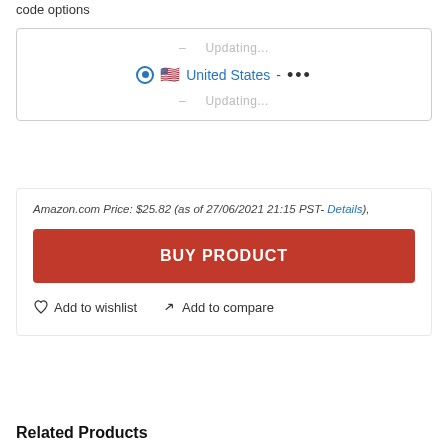code options
[Figure (screenshot): A shipping destination selector widget showing 'Updating...' placeholder rows above and below a selected United States option with flag icon and radio button selected, followed by dots indicating loading.]
Amazon.com Price: $25.82 (as of 27/06/2021 21:15 PST- Details),
BUY PRODUCT
Add to wishlist   Add to compare
Related Products